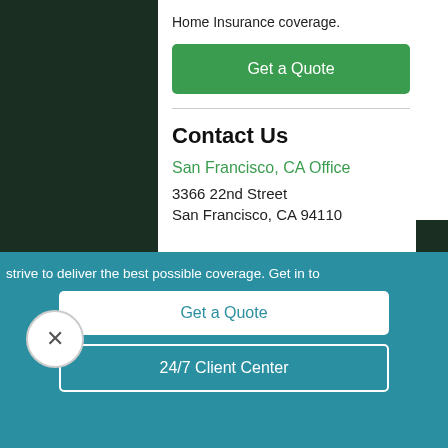Home Insurance coverage.
Get a Quote
Contact Us
San Francisco, CA Office
3366 22nd Street
San Francisco, CA 94110
strive to deliver the best possible coverage. Get in to
Get a Quote
24/7 Client Center